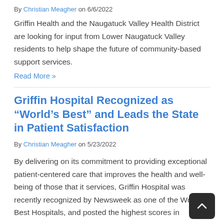By Christian Meagher on 6/6/2022
Griffin Health and the Naugatuck Valley Health District are looking for input from Lower Naugatuck Valley residents to help shape the future of community-based support services.
Read More »
Griffin Hospital Recognized as “World’s Best” and Leads the State in Patient Satisfaction
By Christian Meagher on 5/23/2022
By delivering on its commitment to providing exceptional patient-centered care that improves the health and well-being of those that it services, Griffin Hospital was recently recognized by Newsweek as one of the World’s Best Hospitals, and posted the highest scores in